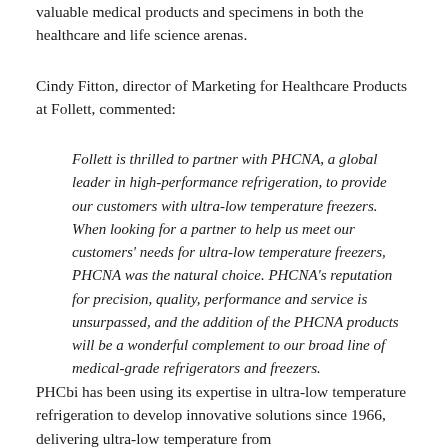valuable medical products and specimens in both the healthcare and life science arenas.
Cindy Fitton, director of Marketing for Healthcare Products at Follett, commented:
Follett is thrilled to partner with PHCNA, a global leader in high-performance refrigeration, to provide our customers with ultra-low temperature freezers. When looking for a partner to help us meet our customers' needs for ultra-low temperature freezers, PHCNA was the natural choice. PHCNA's reputation for precision, quality, performance and service is unsurpassed, and the addition of the PHCNA products will be a wonderful complement to our broad line of medical-grade refrigerators and freezers.
PHCbi has been using its expertise in ultra-low temperature refrigeration to develop innovative solutions since 1966, delivering ultra-low temperature from